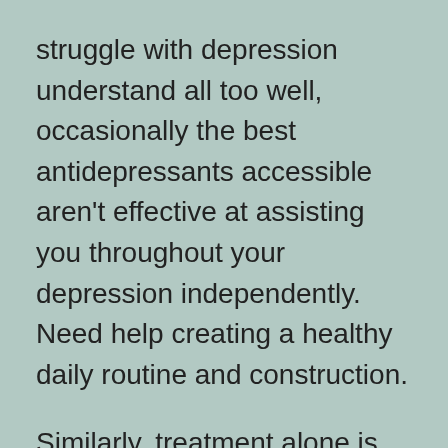struggle with depression understand all too well, occasionally the best antidepressants accessible aren't effective at assisting you throughout your depression independently. Need help creating a healthy daily routine and construction.
Similarly, treatment alone is sometimes insufficient. Want a secure recovery surroundings apart from drugs, alcohol, and harmful circumstances. In Bridges to Recovery rehabilitation for melancholy, we find that the ideal match for nearly all of our inhabitants is a customized program of treatment and